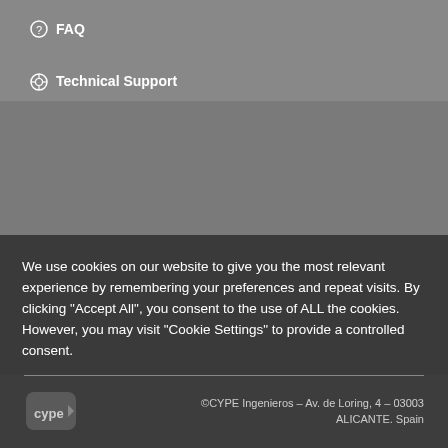FAQ
Technical Support
We use cookies on our website to give you the most relevant experience by remembering your preferences and repeat visits. By clicking "Accept All", you consent to the use of ALL the cookies. However, you may visit "Cookie Settings" to provide a controlled consent.
Cookie Settings | Accept All
©CYPE Ingenieros – Av. de Loring, 4 – 03003 ALICANTE. Spain